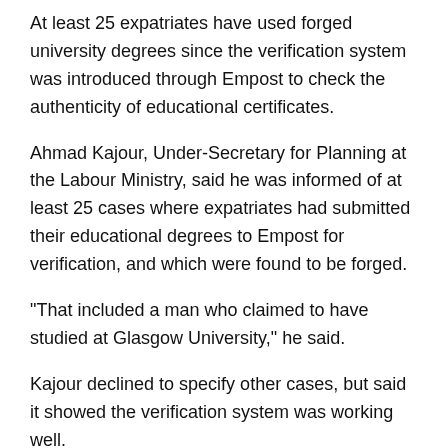At least 25 expatriates have used forged university degrees since the verification system was introduced through Empost to check the authenticity of educational certificates.
Ahmad Kajour, Under-Secretary for Planning at the Labour Ministry, said he was informed of at least 25 cases where expatriates had submitted their educational degrees to Empost for verification, and which were found to be forged.
"That included a man who claimed to have studied at Glasgow University," he said.
Kajour declined to specify other cases, but said it showed the verification system was working well.
Expatriates who are found to have forged educational degrees are to be deported, labour officials had earlier said.
http://www.gulfnews.com/nation/Society/10021807.html